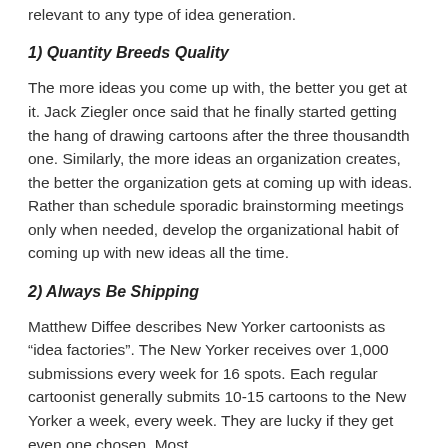relevant to any type of idea generation.
1) Quantity Breeds Quality
The more ideas you come up with, the better you get at it. Jack Ziegler once said that he finally started getting the hang of drawing cartoons after the three thousandth one. Similarly, the more ideas an organization creates, the better the organization gets at coming up with ideas. Rather than schedule sporadic brainstorming meetings only when needed, develop the organizational habit of coming up with new ideas all the time.
2) Always Be Shipping
Matthew Diffee describes New Yorker cartoonists as “idea factories”. The New Yorker receives over 1,000 submissions every week for 16 spots. Each regular cartoonist generally submits 10-15 cartoons to the New Yorker a week, every week. They are lucky if they get even one chosen. Most